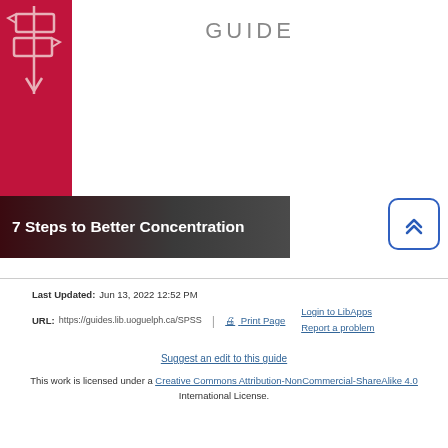[Figure (logo): University library guide header with red sidebar containing a signpost icon and the word GUIDE in grey letters]
7 Steps to Better Concentration
[Figure (other): Back to top button: blue rounded square with upward chevron arrows]
Last Updated: Jun 13, 2022 12:52 PM | URL: https://guides.lib.uoguelph.ca/SPSS | Print Page | Login to LibApps | Report a problem
Suggest an edit to this guide
This work is licensed under a Creative Commons Attribution-NonCommercial-ShareAlike 4.0 International License.